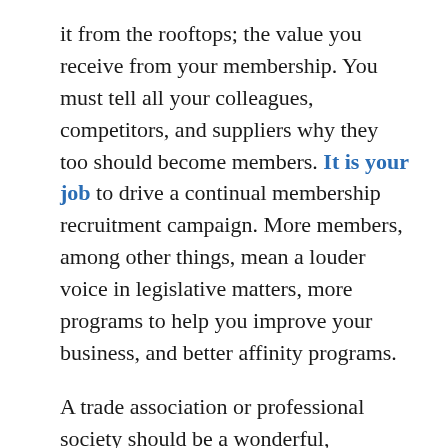it from the rooftops; the value you receive from your membership. You must tell all your colleagues, competitors, and suppliers why they too should become members. It is your job to drive a continual membership recruitment campaign. More members, among other things, mean a louder voice in legislative matters, more programs to help you improve your business, and better affinity programs.

A trade association or professional society should be a wonderful, industry wide strategic alliance enabling all stakeholders to harness the collective strength and thereby receiving the value they need. The members that are actively involved as functionaries in their industry should